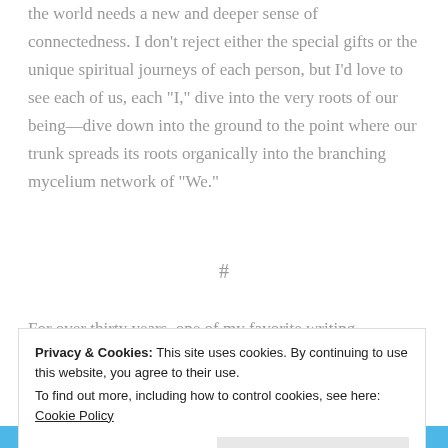the world needs a new and deeper sense of connectedness. I don't reject either the special gifts or the unique spiritual journeys of each person, but I'd love to see each of us, each "I," dive into the very roots of our being—dive down into the ground to the point where our trunk spreads its roots organically into the branching mycelium network of "We."
#
For over thirty years, one of my favorite writing assignments has been to ask people to describe
Privacy & Cookies: This site uses cookies. By continuing to use this website, you agree to their use.
To find out more, including how to control cookies, see here: Cookie Policy
Close and accept